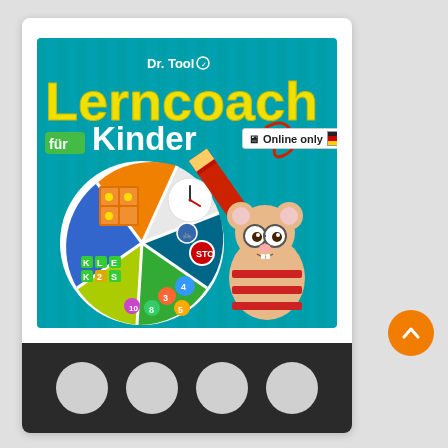[Figure (illustration): Product card for 'Dr. Tool Lerncoach für Kinder' educational software. The card shows a colorful book/app cover with teal background, yellow text 'Lerncoach' and green 'für Kinder', a cartoon mouse wearing glasses and a red-striped shirt holding a giant red pencil, a pie-chart style wheel with educational icons (lightbulb puzzles, clock, letter tiles, number tiles, traffic signs), and 'Dr. Tool' branding. An 'Online only' badge with German flag is shown top-right. The bottom of the card has a dark bar with four gray circles (navigation dots).]